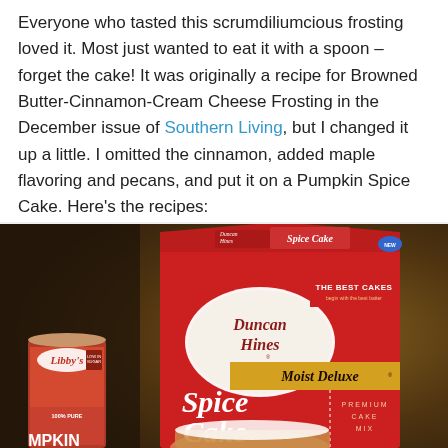Everyone who tasted this scrumdiliumcious frosting loved it. Most just wanted to eat it with a spoon – forget the cake! It was originally a recipe for Browned Butter-Cinnamon-Cream Cheese Frosting in the December issue of Southern Living, but I changed it up a little. I omitted the cinnamon, added maple flavoring and pecans, and put it on a Pumpkin Spice Cake. Here's the recipes:
[Figure (photo): Photo of Duncan Hines Moist Deluxe Spice Cake mix box alongside a Libby's 100% Pure Pumpkin can, on a dark warm-toned background]